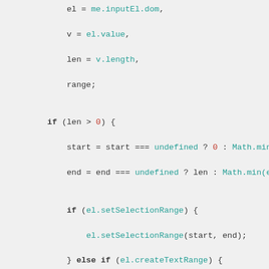[Figure (screenshot): JavaScript source code snippet showing a function body with variable assignments, conditional logic using setSelectionRange and createTextRange, and a comment about TODO: Reinvestigate FF and Opera, followed by a getGrowWidth method definition.]